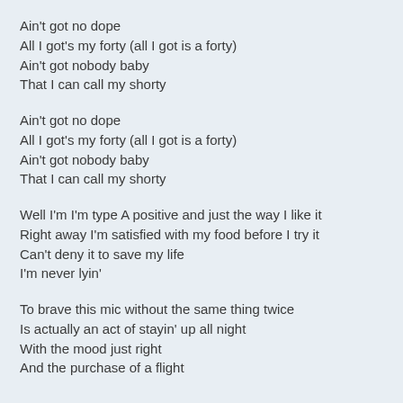Ain't got no dope
All I got's my forty (all I got is a forty)
Ain't got nobody baby
That I can call my shorty
Ain't got no dope
All I got's my forty (all I got is a forty)
Ain't got nobody baby
That I can call my shorty
Well I'm I'm type A positive and just the way I like it
Right away I'm satisfied with my food before I try it
Can't deny it to save my life
I'm never lyin'
To brave this mic without the same thing twice
Is actually an act of stayin' up all night
With the mood just right
And the purchase of a flight